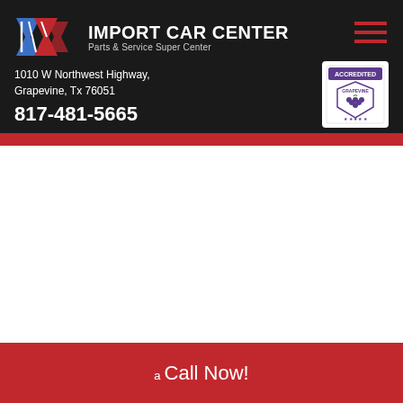IMPORT CAR CENTER – Parts & Service Super Center
1010 W Northwest Highway,
Grapevine, Tx 76051
817-481-5665
[Figure (logo): ICC logo with blue and red stylized letters]
[Figure (illustration): Accredited Grapevine badge/seal]
FAQ
a  Call Now!